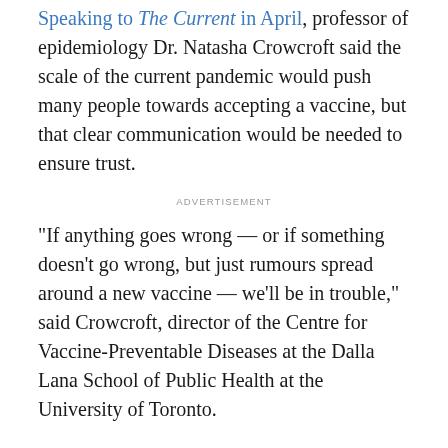Speaking to The Current in April, professor of epidemiology Dr. Natasha Crowcroft said the scale of the current pandemic would push many people towards accepting a vaccine, but that clear communication would be needed to ensure trust.
ADVERTISEMENT
"If anything goes wrong — or if something doesn't go wrong, but just rumours spread around a new vaccine — we'll be in trouble," said Crowcroft, director of the Centre for Vaccine-Preventable Diseases at the Dalla Lana School of Public Health at the University of Toronto.
Mistrust grows as memory fades
Lepore said that anti-vaccination sentiment persists